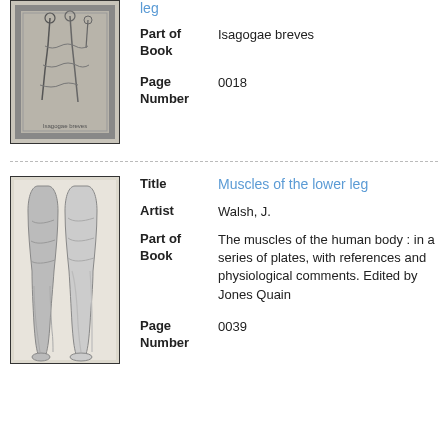[Figure (illustration): Anatomical illustration from a historical medical book showing figures/muscles, with decorative border]
leg
Part of Book	Isagogae breves
Page Number	0018
[Figure (illustration): Anatomical illustration showing muscles of the lower leg from two views, front and side]
Title	Muscles of the lower leg
Artist	Walsh, J.
Part of Book	The muscles of the human body : in a series of plates, with references and physiological comments. Edited by Jones Quain
Page Number	0039